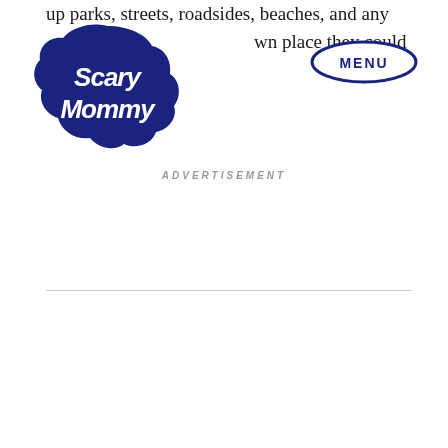up parks, streets, roadsides, beaches, and any own place they could find.
[Figure (logo): Scary Mommy logo - dark navy blue cloud-shaped emblem with cursive white text reading 'Scary Mommy']
[Figure (other): MENU button - oval/ellipse outline in dark navy blue with 'MENU' text inside in bold uppercase navy letters]
ADVERTISEMENT